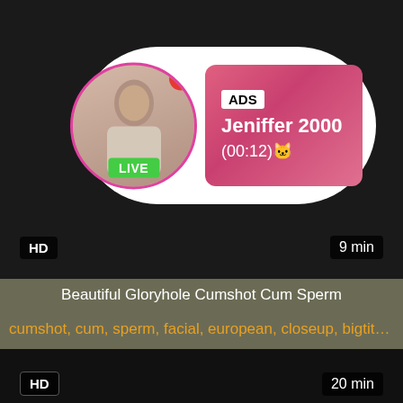[Figure (screenshot): Video thumbnail with dark background showing an advertisement overlay with a profile photo, LIVE badge, ADS label, username Jeniffer 2000, and time (00:12). HD badge bottom left, 9 min duration bottom right.]
Beautiful Gloryhole Cumshot Cum Sperm
cumshot, cum, sperm, facial, european, closeup, bigtits, j...
[Figure (screenshot): Dark/black video thumbnail. HD badge bottom left, 20 min duration bottom right.]